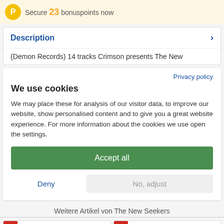Secure 23 bonuspoints now
Description
(Demon Records) 14 tracks Crimson presents The New
Privacy policy
We use cookies
We may place these for analysis of our visitor data, to improve our website, show personalised content and to give you a great website experience. For more information about the cookies we use open the settings.
Accept all
Deny
No, adjust
Weitere Artikel von The New Seekers
[Figure (other): Product card with % discount badge]
[Figure (other): Product card with % discount badge]